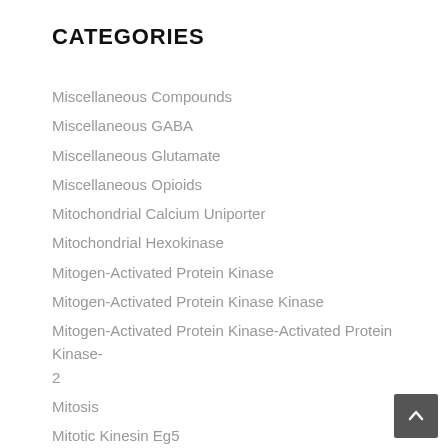CATEGORIES
Miscellaneous Compounds
Miscellaneous GABA
Miscellaneous Glutamate
Miscellaneous Opioids
Mitochondrial Calcium Uniporter
Mitochondrial Hexokinase
Mitogen-Activated Protein Kinase
Mitogen-Activated Protein Kinase Kinase
Mitogen-Activated Protein Kinase-Activated Protein Kinase-2
Mitosis
Mitotic Kinesin Eg5
MK-2
MLCK